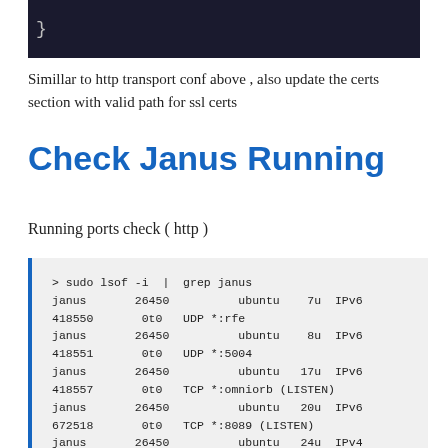[Figure (screenshot): Dark terminal/code screenshot showing a closing brace character on dark background]
Simillar to http transport conf above , also update the certs section with valid path for ssl certs
Check Janus Running
Running ports check ( http )
[Figure (screenshot): Terminal output of 'sudo lsof -i | grep janus' showing janus process listening on various ports: UDP *:rfe (7u IPv6 418550 0t0), UDP *:5004 (8u IPv6 418551 0t0), TCP *:omniorb LISTEN (17u IPv6 418557 0t0), TCP *:8089 LISTEN (20u IPv6 672518 0t0), IPv4 24u (janus 26450 ubuntu)]